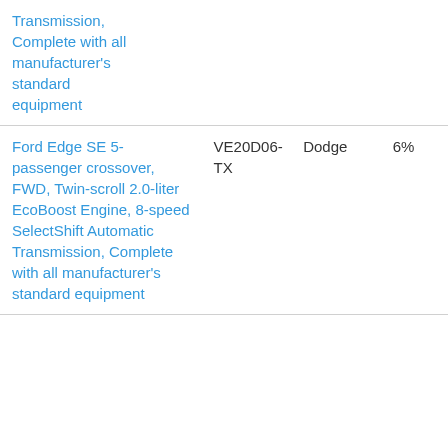| Transmission, Complete with all manufacturer's standard equipment |  |  |  |
| Ford Edge SE 5-passenger crossover, FWD, Twin-scroll 2.0-liter EcoBoost Engine, 8-speed SelectShift Automatic Transmission, Complete with all manufacturer's standard equipment | VE20D06-TX | Dodge | 6% |